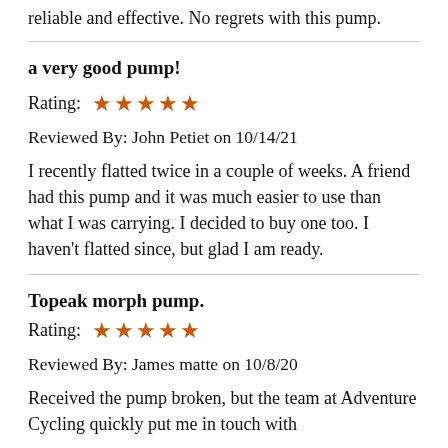reliable and effective. No regrets with this pump.
a very good pump!
Rating: ★★★★★
Reviewed By: John Petiet on 10/14/21
I recently flatted twice in a couple of weeks. A friend had this pump and it was much easier to use than what I was carrying. I decided to buy one too. I haven't flatted since, but glad I am ready.
Topeak morph pump.
Rating: ★★★★★
Reviewed By: James matte on 10/8/20
Received the pump broken, but the team at Adventure Cycling quickly put me in touch with